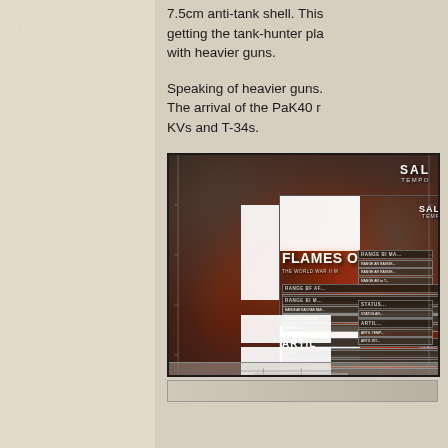7.5cm anti-tank shell. This getting the tank-hunter pla with heavier guns.
Speaking of heavier guns. The arrival of the PaK40 r KVs and T-34s.
[Figure (photo): Game templates and cards for Flames of War WWII miniatures game, showing artillery and salvo templates overlaid on an explosion/fire background. Cards labeled 'FLAMES OF WAR - THE WORLD WAR II MINIATURES GAME', 'SALVO TEMPLATE', 'ARTILLERY TEMPLATE', with game reference tables for range and status information.]
[Figure (photo): Partial view of another game-related image at the bottom of the page, cropped.]